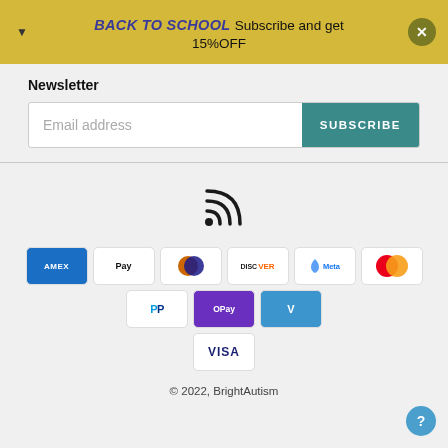BACK TO SCHOOL Subscribe and get 15%OFF
Newsletter
Email address
SUBSCRIBE
[Figure (infographic): RSS feed icon - black wifi-style signal arcs]
[Figure (infographic): Payment method icons: American Express, Apple Pay, Diners Club, Discover, Meta Pay, Mastercard, PayPal, OPay, Venmo, Visa]
© 2022, BrightAutism